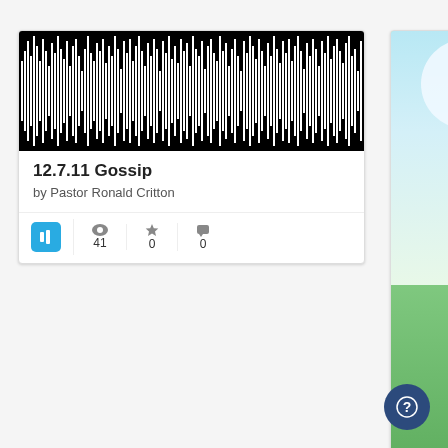[Figure (screenshot): Audio card for '12.7.11 Gossip' by Pastor Ronald Critton showing waveform, views 41, favorites 0, comments 0]
[Figure (screenshot): Book card for 'Guess who's coming' by Meres, Jonathan; East, Jacqueline, ill showing book cover image with a goose, views 42, favorites 0, comments 0]
[Figure (illustration): Dark navy circular help button with question mark icon in bottom-right corner]